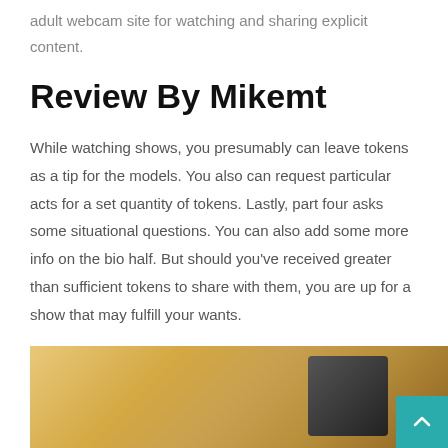adult webcam site for watching and sharing explicit content.
Review By Mikemt
While watching shows, you presumably can leave tokens as a tip for the models. You also can request particular acts for a set quantity of tokens. Lastly, part four asks some situational questions. You can also add some more info on the bio half. But should you've received greater than sufficient tokens to share with them, you are up for a show that may fulfill your wants.
[Figure (photo): Partial close-up photo of a person, warm golden/orange tones visible]